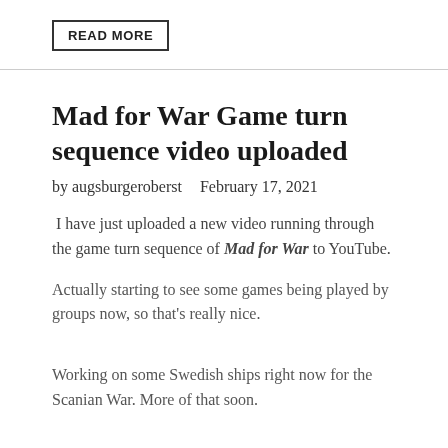READ MORE
Mad for War Game turn sequence video uploaded
by augsburgeroberst   February 17, 2021
I have just uploaded a new video running through the game turn sequence of Mad for War to YouTube.
Actually starting to see some games being played by groups now, so that's really nice.
Working on some Swedish ships right now for the Scanian War. More of that soon.